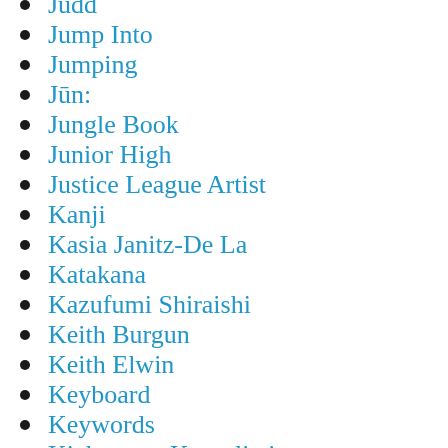Judd
Jump Into
Jumping
Jūn:
Jungle Book
Junior High
Justice League Artist
Kanji
Kasia Janitz-De La
Katakana
Kazufumi Shiraishi
Keith Burgun
Keith Elwin
Keyboard
Keywords
Kickstarter Kompliation
Kids